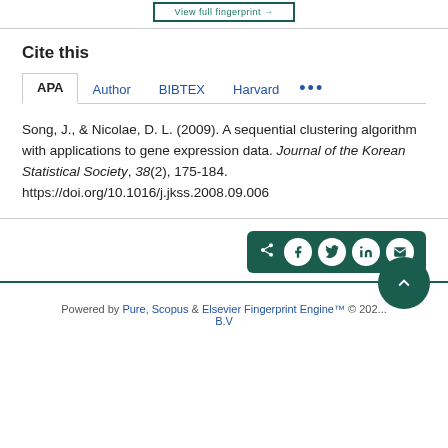Cite this
APA | Author | BIBTEX | Harvard | ...
Song, J., & Nicolae, D. L. (2009). A sequential clustering algorithm with applications to gene expression data. Journal of the Korean Statistical Society, 38(2), 175-184. https://doi.org/10.1016/j.jkss.2008.09.006
[Figure (other): Share bar with social media icons: share, Facebook, Twitter, LinkedIn, email on dark green background]
Powered by Pure, Scopus & Elsevier Fingerprint Engine™ © 202... B.V